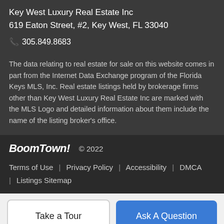Key West Luxury Real Estate Inc
619 Eaton Street, #2, Key West, FL 33040
☎ 305.849.8683
The data relating to real estate for sale on this website comes in part from the Internet Data Exchange program of the Florida Keys MLS, Inc. Real estate listings held by brokerage firms other than Key West Luxury Real Estate Inc are marked with the MLS Logo and detailed information about them include the name of the listing broker's office.
BoomTown! © 2022
Terms of Use | Privacy Policy | Accessibility | DMCA | Listings Sitemap
Take a Tour
Ask A Question